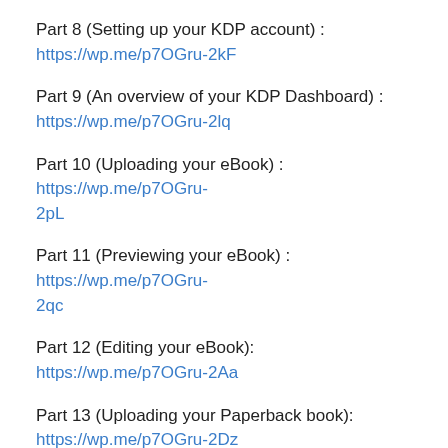Part 8 (Setting up your KDP account) : https://wp.me/p7OGru-2kF
Part 9 (An overview of your KDP Dashboard) : https://wp.me/p7OGru-2lq
Part 10 (Uploading your eBook) : https://wp.me/p7OGru-2pL
Part 11 (Previewing your eBook) : https://wp.me/p7OGru-2qc
Part 12 (Editing your eBook): https://wp.me/p7OGru-2Aa
Part 13 (Uploading your Paperback book): https://wp.me/p7OGru-2Dz
Part 14 (Previewing your Paperback book): https://wp.me/p7OGru-2Kf